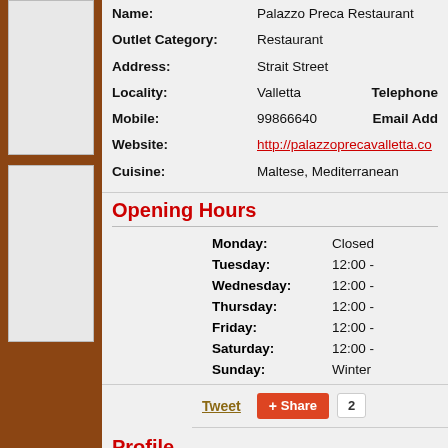| Name: | Palazzo Preca Restaurant |
| Outlet Category: | Restaurant |
| Address: | Strait Street |
| Locality: | Valletta | Telephone |
| Mobile: | 99866640 | Email Add |
| Website: | http://palazzoprecavalletta.co |
| Cuisine: | Maltese, Mediterranean |
Opening Hours
| Monday: | Closed |
| Tuesday: | 12:00 - |
| Wednesday: | 12:00 - |
| Thursday: | 12:00 - |
| Friday: | 12:00 - |
| Saturday: | 12:00 - |
| Sunday: | Winter |
Tweet  Share  2
Profile